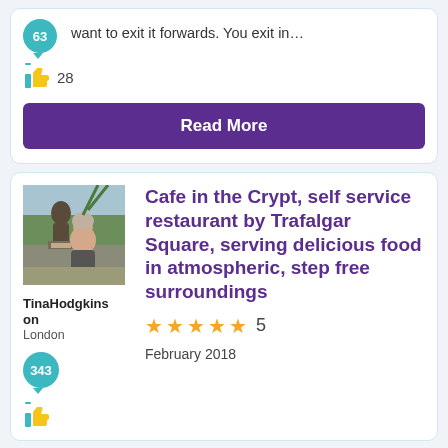want to exit it forwards. You exit in…
28
Read More
[Figure (photo): Profile photo of TinaHodgkinson, a woman standing next to a statue outdoors]
TinaHodgkinson
London
343
Cafe in the Crypt, self service restaurant by Trafalgar Square, serving delicious food in atmospheric, step free surroundings
5 stars — 5
February 2018